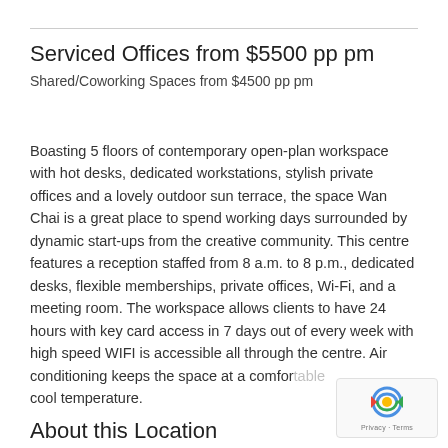Serviced Offices from $5500 pp pm
Shared/Coworking Spaces from $4500 pp pm
Boasting 5 floors of contemporary open-plan workspace with hot desks, dedicated workstations, stylish private offices and a lovely outdoor sun terrace, the space Wan Chai is a great place to spend working days surrounded by dynamic start-ups from the creative community. This centre features a reception staffed from 8 a.m. to 8 p.m., dedicated desks, flexible memberships, private offices, Wi-Fi, and a meeting room. The workspace allows clients to have 24 hours with key card access in 7 days out of every week with high speed WIFI is accessible all through the centre. Air conditioning keeps the space at a comfortable cool temperature.
About this Location